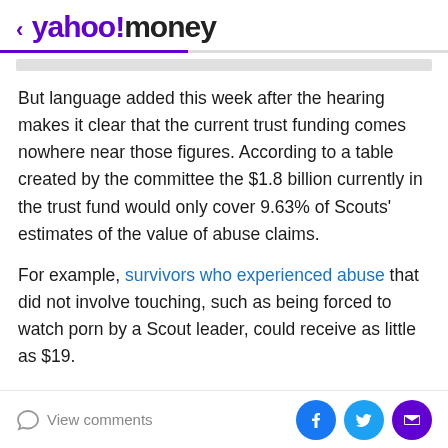< yahoo!money
But language added this week after the hearing makes it clear that the current trust funding comes nowhere near those figures. According to a table created by the committee the $1.8 billion currently in the trust fund would only cover 9.63% of Scouts' estimates of the value of abuse claims.
For example, survivors who experienced abuse that did not involve touching, such as being forced to watch porn by a Scout leader, could receive as little as $19.
A USA TODAY analysis suggests that as many as half of the…
View comments